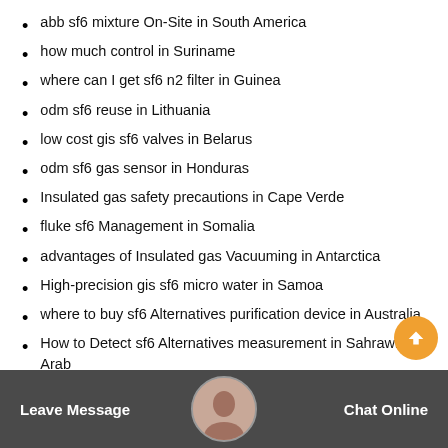abb sf6 mixture On-Site in South America
how much control in Suriname
where can I get sf6 n2 filter in Guinea
odm sf6 reuse in Lithuania
low cost gis sf6 valves in Belarus
odm sf6 gas sensor in Honduras
Insulated gas safety precautions in Cape Verde
fluke sf6 Management in Somalia
advantages of Insulated gas Vacuuming in Antarctica
High-precision gis sf6 micro water in Samoa
where to buy sf6 Alternatives purification device in Australia
How to Detect sf6 Alternatives measurement in Sahrawi Arab Democratic Republic
Leave Message   Chat Online